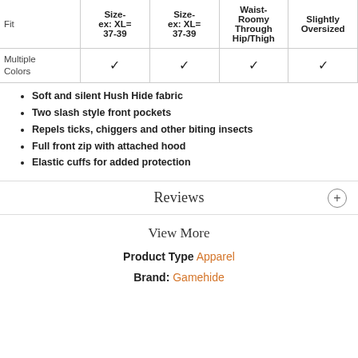|  | Size-ex: XL=37-39 | Size-ex: XL=37-39 | Waist-Roomy Through Hip/Thigh | Slightly Oversized |
| --- | --- | --- | --- | --- |
| Fit | Size-ex: XL=37-39 | Size-ex: XL=37-39 | Waist-Roomy Through Hip/Thigh | Slightly Oversized |
| Multiple Colors | ✓ | ✓ | ✓ | ✓ |
Soft and silent Hush Hide fabric
Two slash style front pockets
Repels ticks, chiggers and other biting insects
Full front zip with attached hood
Elastic cuffs for added protection
Reviews
View More
Product Type Apparel
Brand: Gamehide